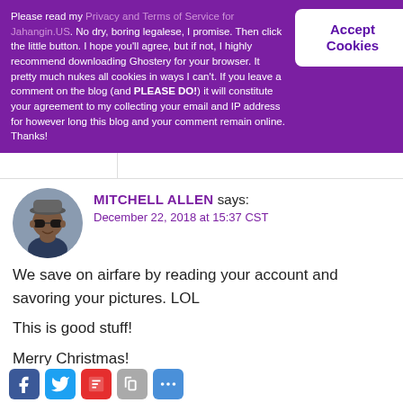Please read my Privacy and Terms of Service for Jahangin.US. No dry, boring legalese, I promise. Then click the little button. I hope you'll agree, but if not, I highly recommend downloading Ghostery for your browser. It pretty much nukes all cookies in ways I can't. If you leave a comment on the blog (and PLEASE DO!) it will constitute your agreement to my collecting your email and IP address for however long this blog and your comment remain online. Thanks!
[Figure (other): Accept Cookies button — white rectangle with purple bold text]
[Figure (photo): Circular avatar photo of Mitchell Allen, a man wearing sunglasses and a hat]
MITCHELL ALLEN says: December 22, 2018 at 15:37 CST
We save on airfare by reading your account and savoring your pictures. LOL
This is good stuff!

Merry Christmas!

Cheers,

Mitch
[Figure (infographic): Social share bar with Facebook, Twitter, Flipboard, Copy Link, and Share Plus icons]